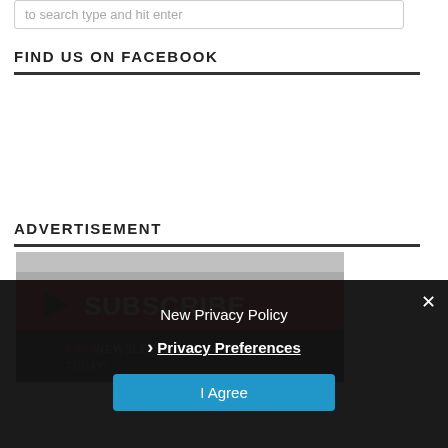to search type and hit enter
FIND US ON FACEBOOK
ADVERTISEMENT
[Figure (screenshot): Subscribe banner ad with red background, play button icon, and text SUBSCRIBE in white letters, partially overlaid by a dark modal popup]
New Privacy Policy
› Privacy Preferences
I Agree